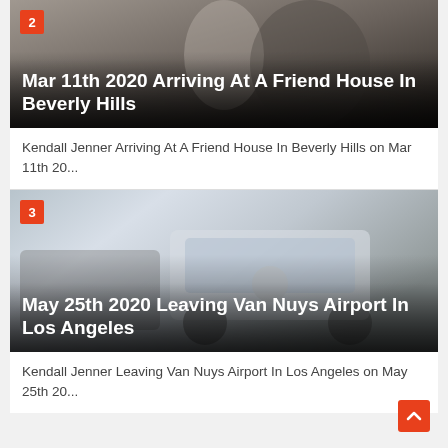[Figure (photo): Photo of person arriving at a friend house in Beverly Hills, with overlay badge number 2 and title text]
Kendall Jenner Arriving At A Friend House In Beverly Hills on Mar 11th 20...
[Figure (photo): Photo of vehicles including a Mercedes G-Wagon leaving Van Nuys Airport in Los Angeles, with overlay badge number 3 and title text]
Kendall Jenner Leaving Van Nuys Airport In Los Angeles on May 25th 20...